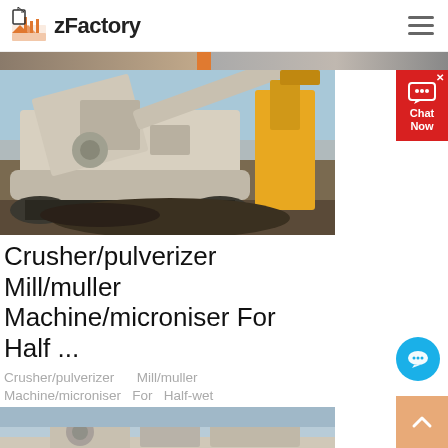zFactory
[Figure (photo): Mobile crusher/pulverizer machine photographed outdoors on a construction or mining site, showing heavy industrial machinery with tracks and a large yellow excavator in the background.]
Crusher/pulverizer Mill/muller Machine/microniser For Half ...
Crusher/pulverizer Mill/muller Machine/microniser For Half-wet
[Figure (photo): Partial bottom image showing industrial machinery, appears to be another crusher or mill machine at a facility.]